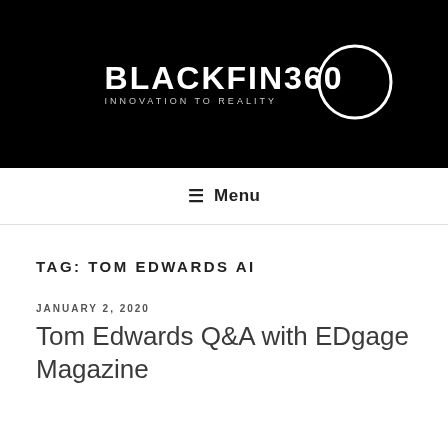[Figure (logo): BLACKFIN360 INNOVATION TO REALITY logo on black background with white circle graphic]
≡ Menu
TAG: TOM EDWARDS AI
JANUARY 2, 2020
Tom Edwards Q&A with EDgage Magazine